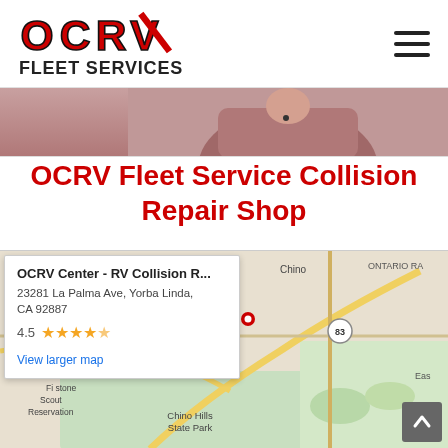OCRV Fleet Services — navigation header with hamburger menu
[Figure (photo): Cropped photo of a person in a mauve/maroon hoodie, visible from chest up, website hero image strip]
OCRV Fleet Service Collision Repair Shop
[Figure (map): Google Maps embed showing the area around Yorba Linda, CA with Chino Hills State Park, Ontario Rd, and route 83 visible. Info card overlay shows OCRV Center - RV Collision R... at 23281 La Palma Ave, Yorba Linda, CA 92887, rated 4.5 stars, with a View larger map link.]